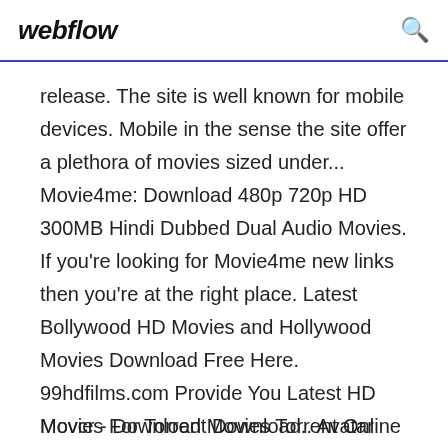webflow
release. The site is well known for mobile devices. Mobile in the sense the site offer a plethora of movies sized under... Movie4me: Download 480p 720p HD 300MB Hindi Dubbed Dual Audio Movies. If you're looking for Movie4me new links then you're at the right place. Latest Bollywood HD Movies and Hollywood Movies Download Free Here. 99hdfilms.com Provide You Latest HD Movies For Torrent Download.. Avatar (2009) 1080p iTunes Dual Audio MKV 4GB Avatar (2009) Full Movie Hindi Dubbed 1080p HD Blu Ray...
Movcr - Download Movies Torrent Online Free.